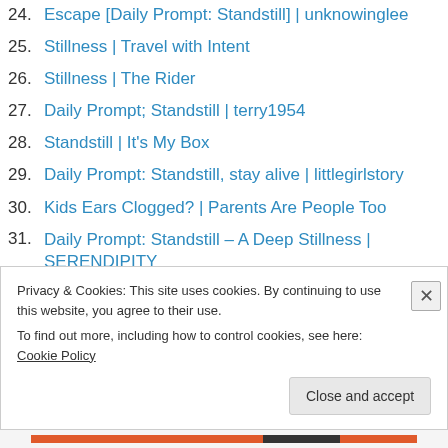24. Escape [Daily Prompt: Standstill] | unknowinglee
25. Stillness | Travel with Intent
26. Stillness | The Rider
27. Daily Prompt; Standstill | terry1954
28. Standstill | It's My Box
29. Daily Prompt: Standstill, stay alive | littlegirlstory
30. Kids Ears Clogged? | Parents Are People Too
31. Daily Prompt: Standstill – A Deep Stillness | SERENDIPITY
32. One Tiny Change | Tony's Texts
33. Before The Storm Breaks | Flowers and Breezes
Privacy & Cookies: This site uses cookies. By continuing to use this website, you agree to their use. To find out more, including how to control cookies, see here: Cookie Policy
Close and accept